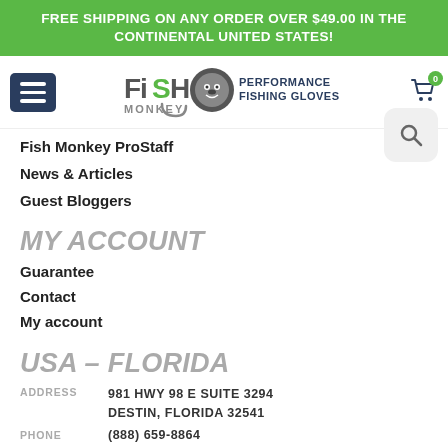FREE SHIPPING ON ANY ORDER OVER $49.00 IN THE CONTINENTAL UNITED STATES!
[Figure (logo): Fish Monkey Performance Fishing Gloves logo with monkey mascot]
Fish Monkey ProStaff
News & Articles
Guest Bloggers
MY ACCOUNT
Guarantee
Contact
My account
USA – FLORIDA
ADDRESS   981 HWY 98 E SUITE 3294 DESTIN, FLORIDA 32541
PHONE   (888) 659-8864